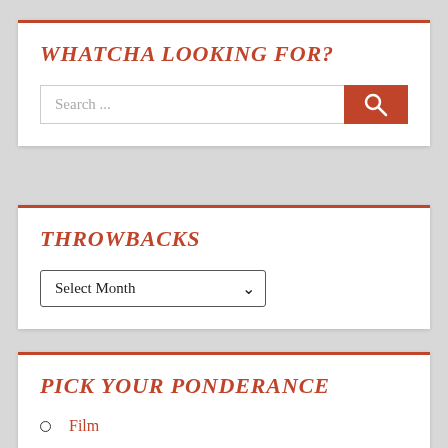WHATCHA LOOKING FOR?
[Figure (screenshot): Search bar with text 'Search ...' and a red search button with magnifying glass icon]
THROWBACKS
[Figure (screenshot): Dropdown select control labeled 'Select Month' with a chevron arrow]
PICK YOUR PONDERANCE
Film